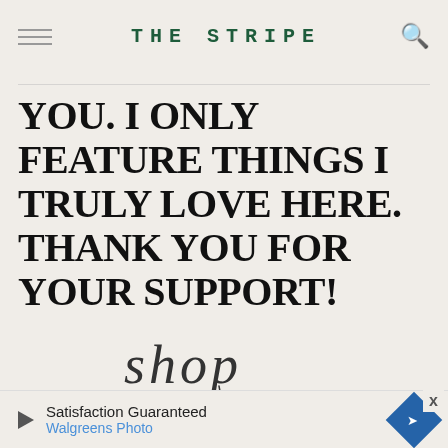THE STRIPE
YOU. I ONLY FEATURE THINGS I TRULY LOVE HERE. THANK YOU FOR YOUR SUPPORT!
[Figure (illustration): Handwritten cursive script word 'shop' with a decorative descending flourish line below it]
[Figure (photo): Partial product grid images at the bottom of the page, showing blurred/partial product thumbnails on a white background]
Satisfaction Guaranteed
Walgreens Photo